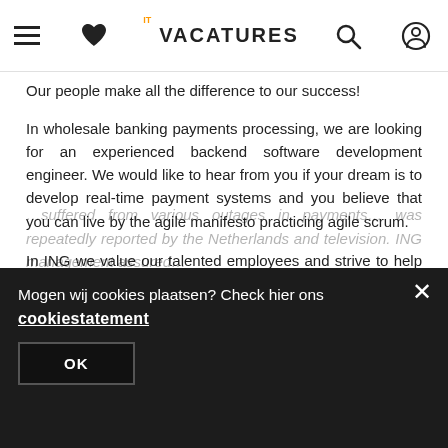IT Vacatures – navigation header
Our people make all the difference to our success!
In wholesale banking payments processing, we are looking for an experienced backend software development engineer. We would like to hear from you if your dream is to develop real-time payment systems and you believe that you can live by the agile manifesto practicing agile scrum.
In ING we value our talented employees and strive to help our employees before recruiting new talent to our open positions.
If you think the open position is right for you, we encourage you to apply!
Mogen wij cookies plaatsen? Check hier ons cookiestatement
OK